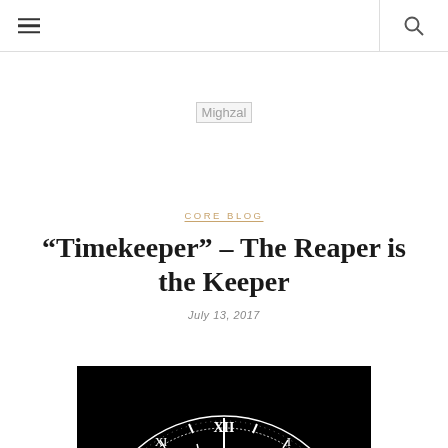Navigation bar with hamburger menu and search icon
[Figure (logo): Mighzal website logo placeholder image]
CORE BLOG
“Timekeeper” – The Reaper is the Keeper
July 13, 2017
[Figure (photo): Black and white close-up of a clock face showing Roman numerals, with XII visible at top, dark background]